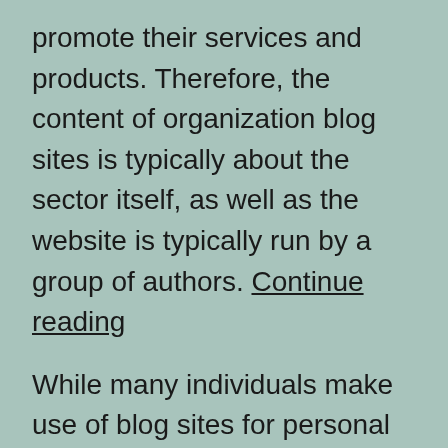promote their services and products. Therefore, the content of organization blog sites is typically about the sector itself, as well as the website is typically run by a group of authors. Continue reading
While many individuals make use of blog sites for personal purposes, others utilize them to develop specialist accounts or to connect with others. For instance, publishing specialist Jane Friedman blogs about the business of composing. Her blog has helped her brand name herself as an industry assumed leader. Companies also utilize blogs as an advertising